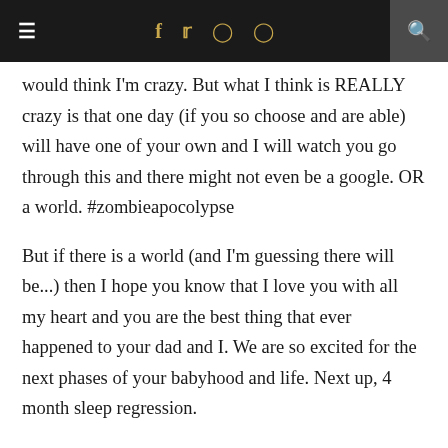≡ f 𝕥 ⊙ ⊕ 🔍
would think I'm crazy. But what I think is REALLY crazy is that one day (if you so choose and are able) will have one of your own and I will watch you go through this and there might not even be a google. OR a world. #zombieapocolypse
But if there is a world (and I'm guessing there will be...) then I hope you know that I love you with all my heart and you are the best thing that ever happened to your dad and I. We are so excited for the next phases of your babyhood and life. Next up, 4 month sleep regression.
I love you, sweet Gracie.